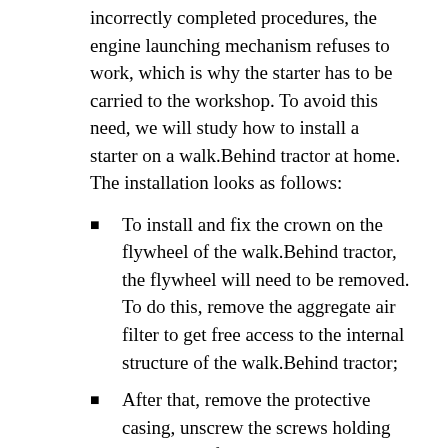incorrectly completed procedures, the engine launching mechanism refuses to work, which is why the starter has to be carried to the workshop. To avoid this need, we will study how to install a starter on a walk.Behind tractor at home. The installation looks as follows:
To install and fix the crown on the flywheel of the walk.Behind tractor, the flywheel will need to be removed. To do this, remove the aggregate air filter to get free access to the internal structure of the walk.Behind tractor;
After that, remove the protective casing, unscrew the screws holding the basket of the manual starter, the flywheel nut and the flywheel itself. The dismantling of the